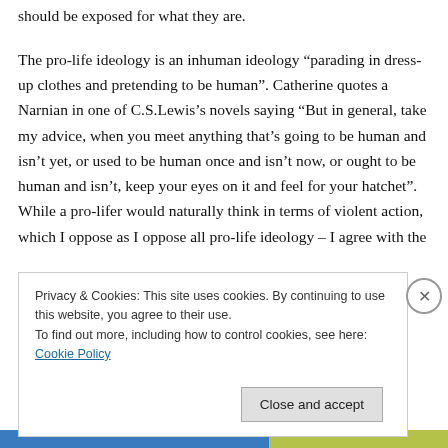should be exposed for what they are.

The pro-life ideology is an inhuman ideology “parading in dress-up clothes and pretending to be human”. Catherine quotes a Narnian in one of C.S.Lewis’s novels saying “But in general, take my advice, when you meet anything that’s going to be human and isn’t yet, or used to be human once and isn’t now, or ought to be human and isn’t, keep your eyes on it and feel for your hatchet”. While a pro-lifer would naturally think in terms of violent action, which I oppose as I oppose all pro-life ideology – I agree with the recommendation to be wary of inhumanity.
Privacy & Cookies: This site uses cookies. By continuing to use this website, you agree to their use.
To find out more, including how to control cookies, see here: Cookie Policy
Close and accept